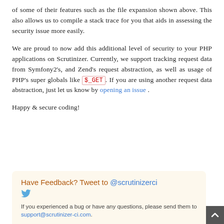of some of their features such as the file expansion shown above. This also allows us to compile a stack trace for you that aids in assessing the security issue more easily.
We are proud to now add this additional level of security to your PHP applications on Scrutinizer. Currently, we support tracking request data from Symfony2's, and Zend's request abstraction, as well as usage of PHP's super globals like $_GET. If you are using another request data abstraction, just let us know by opening an issue.
Happy & secure coding!
[Figure (other): Feedback box with orange/brown heading 'Have Feedback? Tweet to @scrutinizerci', a Twitter bird icon, and body text 'If you experienced a bug or have any questions, please send them to support@scrutinizer-ci.com.']